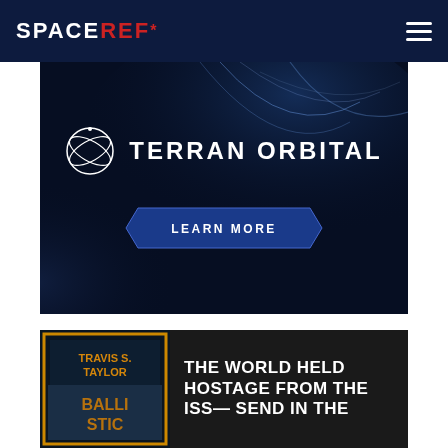SPACEREF*
[Figure (advertisement): Terran Orbital advertisement banner with dark space background featuring light streaks, globe/orbital logo, TERRAN ORBITAL text, and LEARN MORE button]
[Figure (advertisement): Book advertisement for Travis S. Taylor's 'Ballistic' with book cover on left and text 'THE WORLD HELD HOSTAGE FROM THE ISS— SEND IN THE' on dark background]